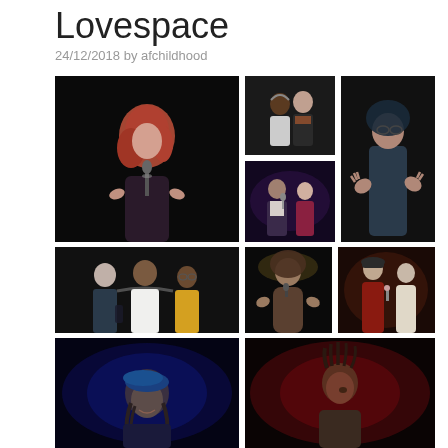Lovespace
24/12/2018 by afchildhood
[Figure (photo): Photo collage of a performance event called Lovespace. Row 1: A woman with red hair singing at a microphone on a dark stage (large left); Two people posing together (top center); A person in a hoodie gesturing with hands (right tall); Two men on stage with a microphone (bottom center). Row 2: Three people posing together including a woman and two men (large left); A person rapping or performing in a hoodie on stage (center); Two people on stage interacting (right). Row 3: A performer wearing a beret on stage under blue lighting (left); A person on stage lit in red (right).]